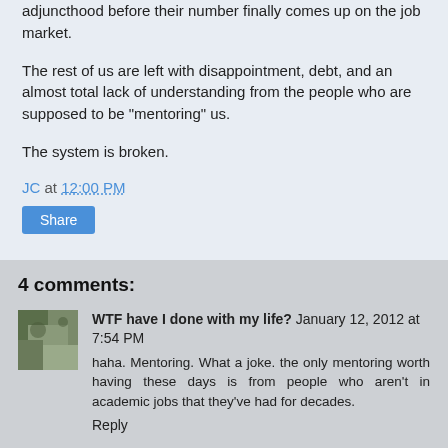adjuncthood before their number finally comes up on the job market.
The rest of us are left with disappointment, debt, and an almost total lack of understanding from the people who are supposed to be "mentoring" us.
The system is broken.
JC at 12:00 PM
Share
4 comments:
WTF have I done with my life? January 12, 2012 at 7:54 PM
haha. Mentoring. What a joke. the only mentoring worth having these days is from people who aren't in academic jobs that they've had for decades.
Reply